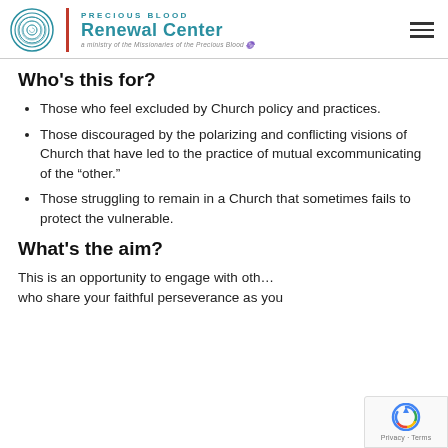[Figure (logo): Precious Blood Renewal Center logo with spiral icon, red divider, teal text reading PRECIOUS BLOOD Renewal Center, a ministry of the Missionaries of the Precious Blood]
Who's this for?
Those who feel excluded by Church policy and practices.
Those discouraged by the polarizing and conflicting visions of Church that have led to the practice of mutual excommunicating of the “other.”
Those struggling to remain in a Church that sometimes fails to protect the vulnerable.
What's the aim?
This is an opportunity to engage with oth… who share your faithful perseverance as you